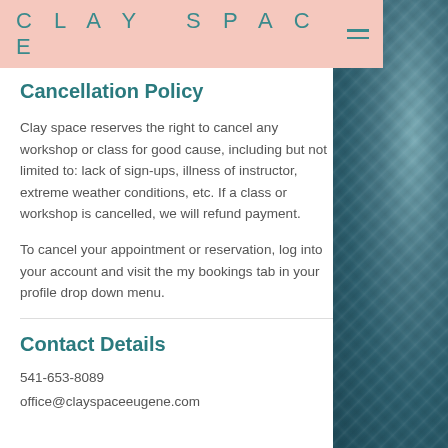CLAY SPACE
Cancellation Policy
Clay space reserves the right to cancel any workshop or class for good cause, including but not limited to: lack of sign-ups, illness of instructor, extreme weather conditions, etc. If a class or workshop is cancelled, we will refund payment.
To cancel your appointment or reservation, log into your account and visit the my bookings tab in your profile drop down menu.
Contact Details
541-653-8089
office@clayspaceeugene.com